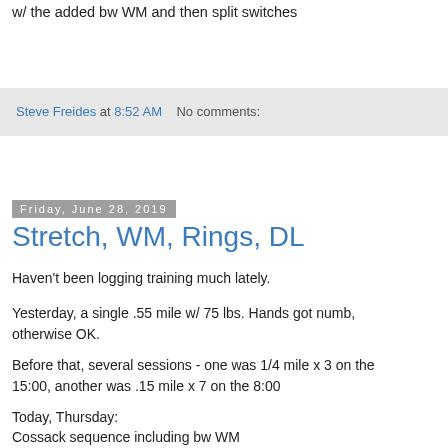w/ the added bw WM and then split switches
Steve Freides at 8:52 AM   No comments:
Friday, June 28, 2019
Stretch, WM, Rings, DL
Haven't been logging training much lately.
Yesterday, a single .55 mile w/ 75 lbs. Hands got numb, otherwise OK.
Before that, several sessions - one was 1/4 mile x 3 on the 15:00, another was .15 mile x 7 on the 8:00
Today, Thursday:
Cossack sequence including bw WM
Press/WM: Press x 5, WM x 1, lf, @ 6, 8, 10 kg, did a